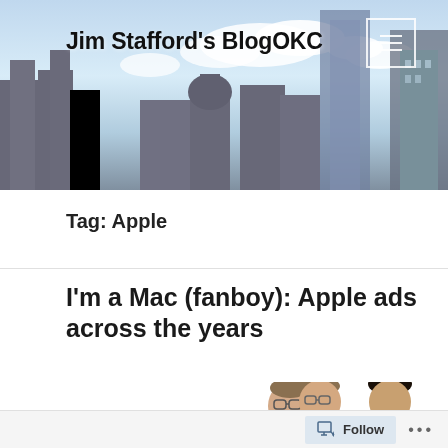Jim Stafford's BlogOKC
Tag: Apple
I'm a Mac (fanboy): Apple ads across the years
[Figure (photo): Two men standing side by side on white background — one in a brown suit and tie, one in a dark blue polo shirt, from an Apple Mac vs PC advertisement.]
Follow